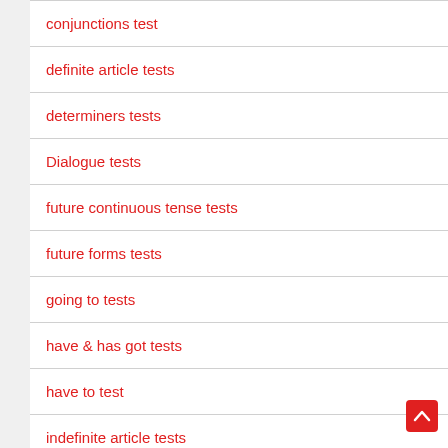conjunctions test
definite article tests
determiners tests
Dialogue tests
future continuous tense tests
future forms tests
going to tests
have & has got tests
have to test
indefinite article tests